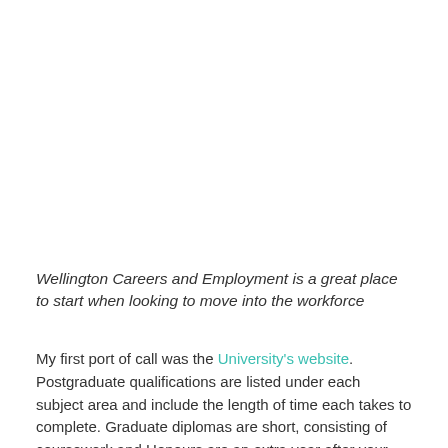Wellington Careers and Employment is a great place to start when looking to move into the workforce
My first port of call was the University's website. Postgraduate qualifications are listed under each subject area and include the length of time each takes to complete. Graduate diplomas are short, consisting of coursework and Honours are an extra year after your